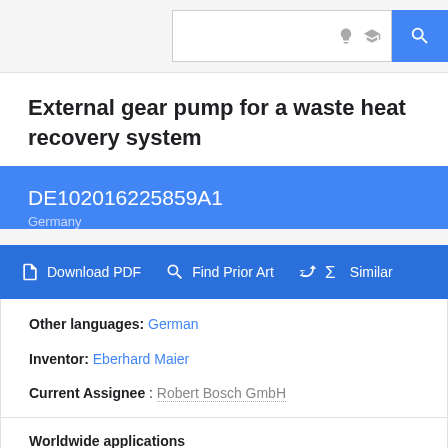Search bar header with bulb icon, graduation cap icon, and search button
External gear pump for a waste heat recovery system
DE102016225859A1
Germany
Download PDF  Find Prior Art  Similar
Other languages: German
Inventor: Eberhard Maier
Current Assignee : Robert Bosch GmbH
Worldwide applications
2016 · DE  2017 · WO